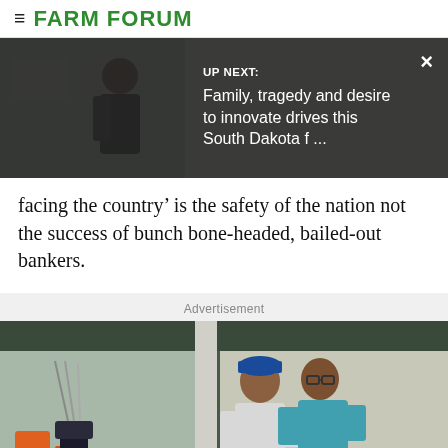FARM FORUM
[Figure (photo): UP NEXT panel overlay on photo of person in agricultural setting. Text reads: 'UP NEXT: Family, tragedy and desire to innovate drives this South Dakota f ...' with X close button.]
facing the country’ is the safety of the nation not the success of bunch bone-headed, bailed-out bankers.
Advertisement
[Figure (photo): Advertisement photo showing two men at a golf driving range, one coaching the other on golf grip/swing technique.]